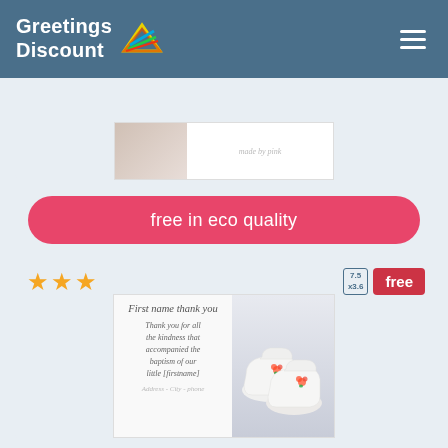Greetings Discount
[Figure (screenshot): Partially visible greeting card preview with image on left and faded italic text on right]
free in eco quality
[Figure (screenshot): Three gold stars rating, size badge 7.5x3.6, free badge in red, and baptism thank-you card preview with white baby shoes photo]